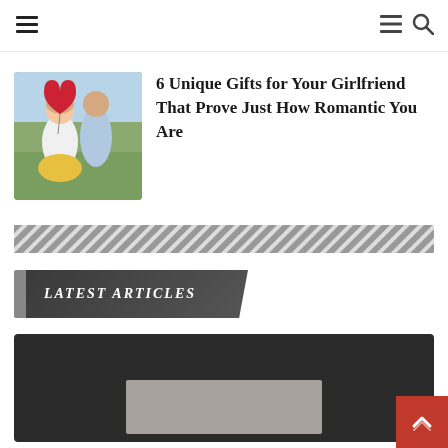Navigation header with hamburger menu and search icon
[Figure (photo): A couple outdoors, woman holding a red heart-shaped balloon, laughing]
6 Unique Gifts for Your Girlfriend That Prove Just How Romantic You Are
[Figure (other): Diagonal hatching stripe divider]
LATEST ARTICLES
[Figure (photo): Dark card with a gray image placeholder at the bottom of the page]